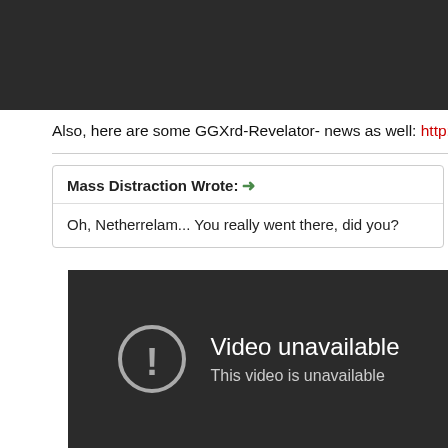[Figure (screenshot): Dark background bar at top of page, part of a web forum screenshot]
Also, here are some GGXrd-Revelator- news as well: http://www.fight
Mass Distraction Wrote: → Oh, Netherrelam... You really went there, did you?
[Figure (screenshot): YouTube video unavailable placeholder showing a warning circle icon with exclamation mark, text 'Video unavailable' and 'This video is unavailable']